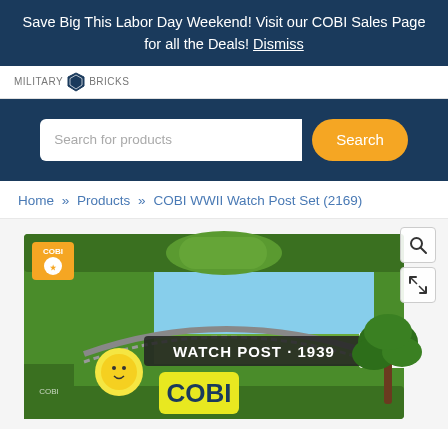Save Big This Labor Day Weekend! Visit our COBI Sales Page for all the Deals! Dismiss
[Figure (logo): Military Bricks logo with shield icon]
[Figure (screenshot): Search bar with text 'Search for products' and orange Search button]
Home » Products » COBI WWII Watch Post Set (2169)
[Figure (photo): COBI WWII Watch Post Set (2169) product box showing green box with 'WATCH POST - 1939' text, COBI logo, tropical tree scene, 60 pieces, World War II branding]